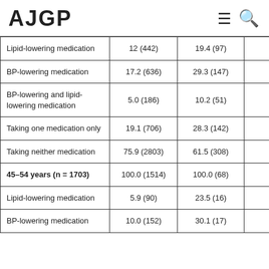AJGP
|  | Col1 | Col2 |  |
| --- | --- | --- | --- |
| Lipid-lowering medication | 12 (442) | 19.4 (97) |  |
| BP-lowering medication | 17.2 (636) | 29.3 (147) |  |
| BP-lowering and lipid-lowering medication | 5.0 (186) | 10.2 (51) |  |
| Taking one medication only | 19.1 (706) | 28.3 (142) |  |
| Taking neither medication | 75.9 (2803) | 61.5 (308) |  |
| 45–54 years (n = 1703) | 100.0 (1514) | 100.0 (68) |  |
| Lipid-lowering medication | 5.9 (90) | 23.5 (16) |  |
| BP-lowering medication | 10.0 (152) | 30.1 (17) |  |